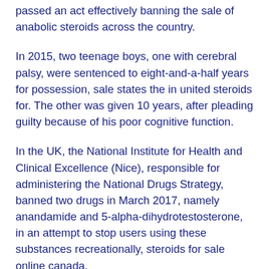passed an act effectively banning the sale of anabolic steroids across the country.
In 2015, two teenage boys, one with cerebral palsy, were sentenced to eight-and-a-half years for possession, sale states the in united steroids for. The other was given 10 years, after pleading guilty because of his poor cognitive function.
In the UK, the National Institute for Health and Clinical Excellence (Nice), responsible for administering the National Drugs Strategy, banned two drugs in March 2017, namely anandamide and 5-alpha-dihydrotestosterone, in an attempt to stop users using these substances recreationally, steroids for sale online canada.
It is unclear if those who are abusing these drugs will be given the same